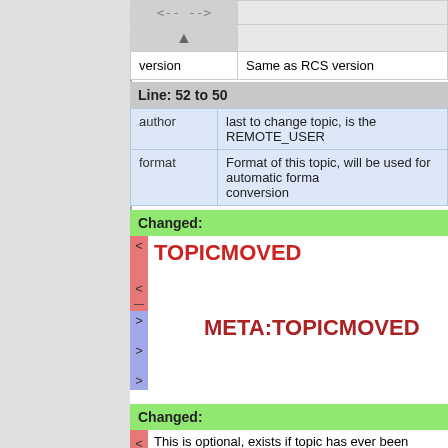| Key | Comment |
| --- | --- |
| <-- --> |  |
| ▲ |  |
| version | Same as RCS version |
Line: 52 to 50
| author | last to change topic, is the REMOTE_USER |
| format | Format of this topic, will be used for automatic format conversion |
Changed:
TOPICMOVED
META:TOPICMOVED
Changed:
This is optional, exists if topic has ever been moved. If a topic is moved more than once, only the most recent TOPICMOVE meta variable exists in the topic, older ones are to be found...